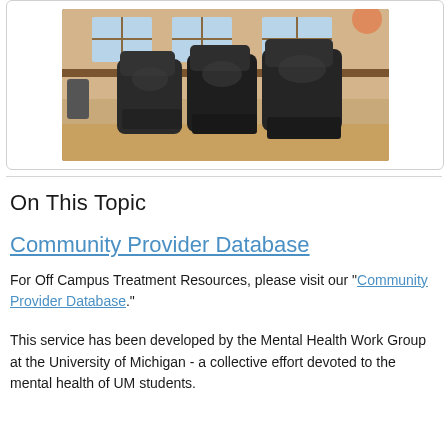[Figure (photo): Three black leather massage/recliner chairs in a room with wooden walls and windows]
On This Topic
Community Provider Database
For Off Campus Treatment Resources, please visit our "Community Provider Database."
This service has been developed by the Mental Health Work Group at the University of Michigan - a collective effort devoted to the mental health of UM students.